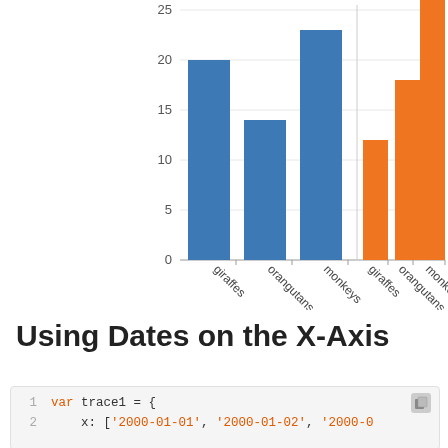[Figure (grouped-bar-chart): ]
Using Dates on the X-Axis
var trace1 = {
  x: ['2000-01-01', '2000-01-02', '2000-0